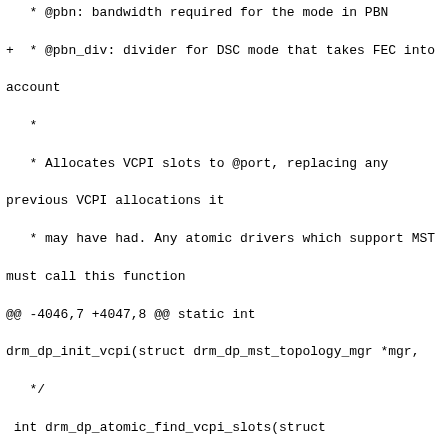Code diff showing changes to drm_dp_atomic_find_vcpi_slots function adding pbn_div parameter